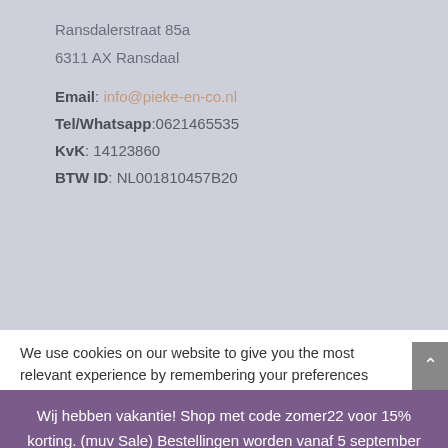Ransdalerstraat 85a
6311 AX Ransdaal
Email: info@pieke-en-co.nl
Tel/Whatsapp:0621465535
KvK: 14123860
BTW ID: NL001810457B20
We use cookies on our website to give you the most relevant experience by remembering your preferences and repeat visits. By clicking “Accept All”, you consent to the use of ALL the cookies. However, you may visit “Cookie Settings” to provide a controlled consent.
Wij hebben vakantie! Shop met code zomer22 voor 15% korting. (muv Sale) Bestellingen worden vanaf 5 september op volgorde van binnenkomst afgehandeld. Sluiten